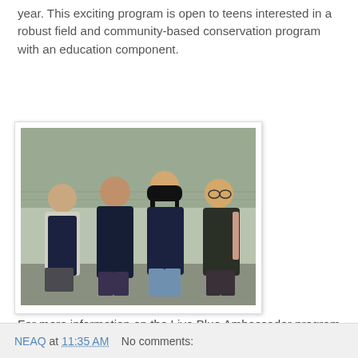year. This exciting program is open to teens interested in a robust field and community-based conservation program with an education component.
[Figure (photo): Four young women wearing matching dark blue 'Live Blue' t-shirts standing outdoors in front of a chain-link fence with bare trees in the background.]
For more information on the Live Blue Ambassador program, contact Heather Deschenes at hdeschenes@neaq.org or by calling 617-973-0253.
NEAQ at 11:35 AM    No comments: